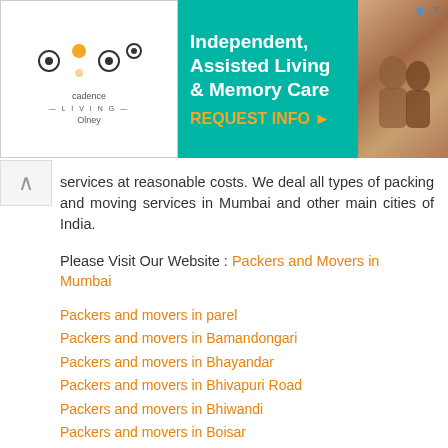[Figure (infographic): Advertisement banner for Cadence Living Olney - Independent, Assisted Living & Memory Care with a REQUEST INFO button and photo of elderly couple]
services at reasonable costs. We deal all types of packing and moving services in Mumbai and other main cities of India.
Please Visit Our Website : Packers and Movers in Mumbai
Packers and movers in parel
Packers and movers in Bamandongari
Packers and movers in Bhayandar
Packers and movers in Bhivapuri Road
Packers and movers in Bhiwandi
Packers and movers in Boisar
Packers and movers in Dockyard Road
Packers and movers in Dolavli
Reply
Sandeep Sharma  June 22, 2017 at 11:10 AM